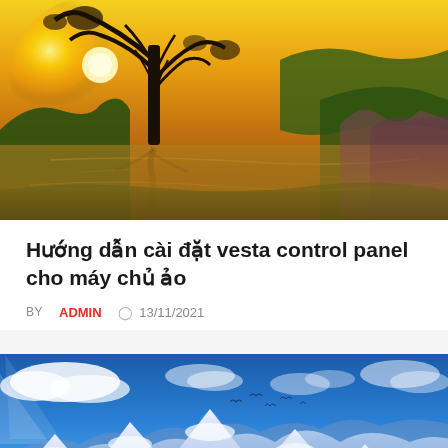[Figure (photo): Landscape photo of a sunset over a reflective lake with a large tree silhouette and greenery; warm golden and orange tones]
Hướng dẫn cài đặt vesta control panel cho máy chủ ảo
BY ADMIN  🕐 13/11/2021
[Figure (photo): Landscape photo of snow-capped mountain range under a vivid blue sky with white clouds and birds in flight]